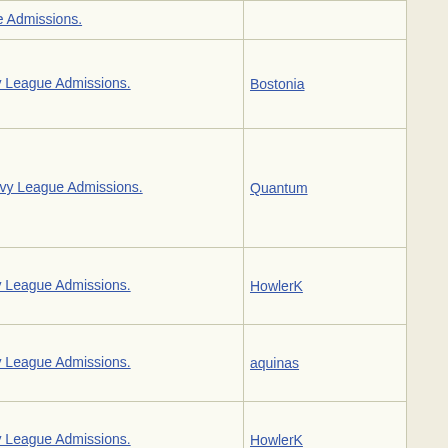| Subject | Author |
| --- | --- |
| Re: Ivy League Admissions. |  |
| Re: Ivy League Admissions. | Bostonia |
| Re: Ivy League Admissions. | Quantum |
| Re: Ivy League Admissions. | HowlerK |
| Re: Ivy League Admissions. | aquinas |
| Re: Ivy League Admissions. | HowlerK |
| Re: Ivy League Admissions. | HowlerK |
| Re: Ivy League Admissions. | Flyingmo |
| Re: Ivy League Admissions. | Val |
| Re: Ivy League Admissions. | HowlerK |
| Re: Ivy League Admissions. | JonLaw |
| Re: Ivy League Admissions. |  |